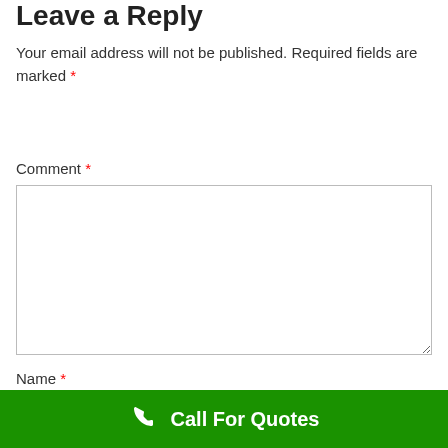Leave a Reply
Your email address will not be published. Required fields are marked *
Comment *
Name *
Call For Quotes